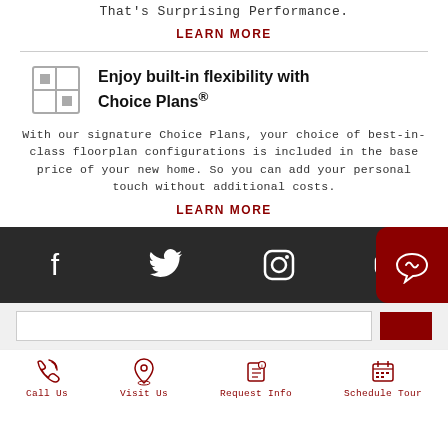That's Surprising Performance.
LEARN MORE
Enjoy built-in flexibility with Choice Plans®
With our signature Choice Plans, your choice of best-in-class floorplan configurations is included in the base price of your new home. So you can add your personal touch without additional costs.
LEARN MORE
[Figure (illustration): Social media icon bar with Facebook, Twitter, Instagram, YouTube icons on dark background, and a red chat/leaf icon button on the right]
[Figure (screenshot): Search bar with red search button]
[Figure (infographic): Bottom navigation bar with Call Us, Visit Us, Request Info, Schedule Tour options with red icons]